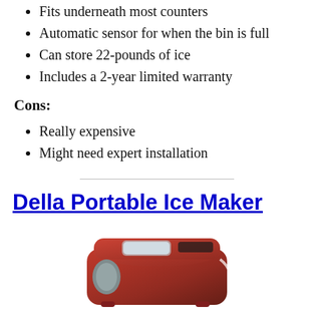Fits underneath most counters
Automatic sensor for when the bin is full
Can store 22-pounds of ice
Includes a 2-year limited warranty
Cons:
Really expensive
Might need expert installation
Della Portable Ice Maker
[Figure (photo): Red Della portable ice maker machine with a window on the front lid and white accent stripe]